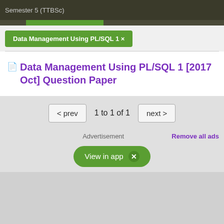Semester 5 (TTBSC)
Data Management Using PL/SQL 1 ×
Data Management Using PL/SQL 1 [2017 Oct] Question Paper
< prev   1 to 1 of 1   next >
Advertisement
Remove all ads
View in app  ×